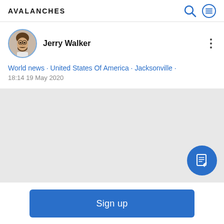AVALANCHES
Jerry Walker
World news • United States Of America • Jacksonville •
18:14 19 May 2020
[Figure (other): Gray content area with a blue circular FAB button containing a document/edit icon]
Sign up